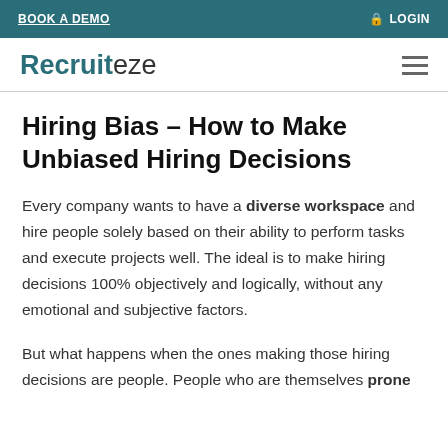BOOK A DEMO   LOGIN
Recruiteze
Hiring Bias – How to Make Unbiased Hiring Decisions
Every company wants to have a diverse workspace and hire people solely based on their ability to perform tasks and execute projects well. The ideal is to make hiring decisions 100% objectively and logically, without any emotional and subjective factors.
But what happens when the ones making those hiring decisions are people. People who are themselves prone